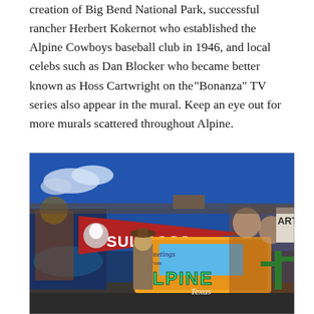creation of Big Bend National Park, successful rancher Herbert Kokernot who established the Alpine Cowboys baseball club in 1946, and local celebs such as Dan Blocker who became better known as Hoss Cartwright on the "Bonanza" TV series also appear in the mural. Keep an eye out for more murals scattered throughout Alpine.
[Figure (photo): A colorful mural on a building exterior featuring a red pennant with 'SUL ROSS' and an eagle, a large postcard-style sign reading 'Greetings from ALPINE Texas', a figure of a person in western attire, western/desert scenes, and various painted figures against a deep blue sky.]